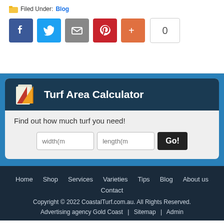Filed Under: Blog
[Figure (infographic): Social share buttons: Facebook, Twitter, Email, Pinterest, Plus, counter showing 0]
[Figure (infographic): Turf Area Calculator widget with logo, tagline 'Find out how much turf you need!', width and length input fields, and Go! button]
Home  Shop  Services  Varieties  Tips  Blog  About us  Contact
Copyright © 2022 CoastalTurf.com.au. All Rights Reserved.
Advertising agency Gold Coast | Sitemap | Admin